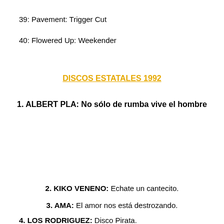39: Pavement: Trigger Cut
40: Flowered Up: Weekender
DISCOS ESTATALES 1992
1. ALBERT PLA: No sólo de rumba vive el hombre
2. KIKO VENENO: Echate un cantecito.
3. AMA: El amor nos está destrozando.
4. LOS RODRIGUEZ: Disco Pirata.